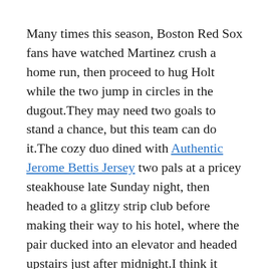Many times this season, Boston Red Sox fans have watched Martinez crush a home run, then proceed to hug Holt while the two jump in circles in the dugout.They may need two goals to stand a chance, but this team can do it.The cozy duo dined with Authentic Jerome Bettis Jersey two pals at a pricey steakhouse late Sunday night, then headed to a glitzy strip club before making their way to his hotel, where the pair ducked into an elevator and headed upstairs just after midnight.I think it would make a big difference.
Altavilla had just received a callup from Triple-A Tacoma late Saturday to help provide